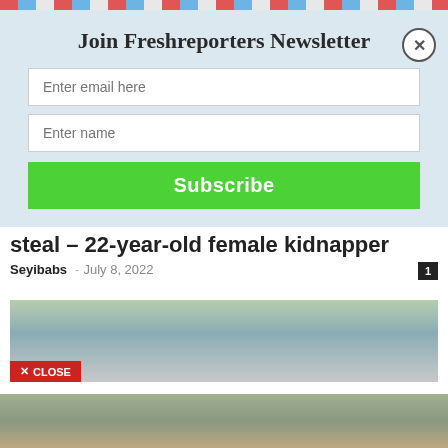[Figure (screenshot): Newsletter signup modal overlay with stripe border at top, title 'Join Freshreporters Newsletter', email input, name input, and green Subscribe button]
steal – 22-year-old female kidnapper
Seyibabs · July 8, 2022  1
[Figure (photo): Outdoor scene with people and foliage, with a red CLOSE button overlay]
[Figure (photo): Partial outdoor photo visible at bottom of page]